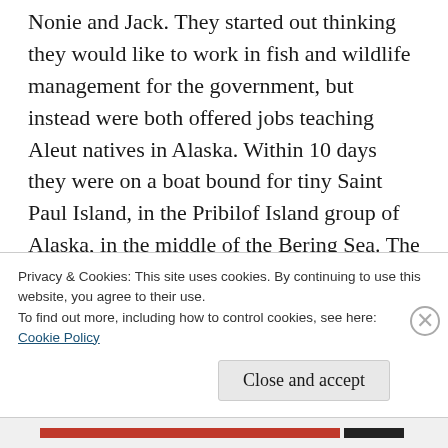Nonie and Jack.  They started out thinking they would like to work in fish and wildlife management for the government, but instead were both offered jobs teaching Aleut natives in Alaska. Within 10 days they were on a boat bound for tiny Saint Paul Island, in the Pribilof Island group of Alaska, in the middle of the Bering Sea.  The nearest land mass was 150 miles away.  Jack taught all the students from fifth grade up, and Nonie taught the third and fourth grade students.  Their one and only co-
Privacy & Cookies: This site uses cookies. By continuing to use this website, you agree to their use.
To find out more, including how to control cookies, see here:
Cookie Policy
Close and accept